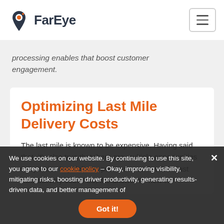FarEye
processing enables that boost customer engagement.
Optimizing Last Mile Delivery Costs
The last mile is known to be expensive. Having said that, it's also true that there are multiple opportunities to optimize key delivery processes and reduce last mile delivery costs. So, the answer to 'how to
We use cookies on our website. By continuing to use this site, you agree to our cookie policy – Okay, improving visibility, mitigating risks, boosting driver productivity, generating results-driven data, and better management of
Got it!